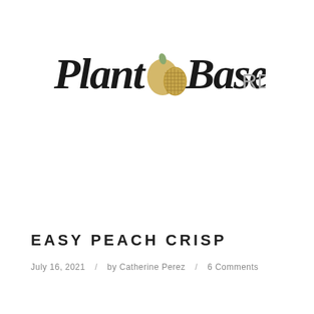[Figure (logo): Plant Based RD logo with script text 'Plant Based' and 'RD' in sans-serif, with an illustrated mango/fruit icon in between]
EASY PEACH CRISP
July 16, 2021 / by Catherine Perez / 6 Comments